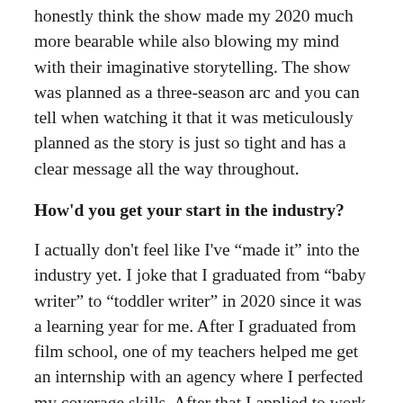honestly think the show made my 2020 much more bearable while also blowing my mind with their imaginative storytelling. The show was planned as a three-season arc and you can tell when watching it that it was meticulously planned as the story is just so tight and has a clear message all the way throughout.
How'd you get your start in the industry?
I actually don't feel like I've “made it” into the industry yet. I joke that I graduated from “baby writer” to “toddler writer” in 2020 since it was a learning year for me. After I graduated from film school, one of my teachers helped me get an internship with an agency where I perfected my coverage skills. After that I applied to work